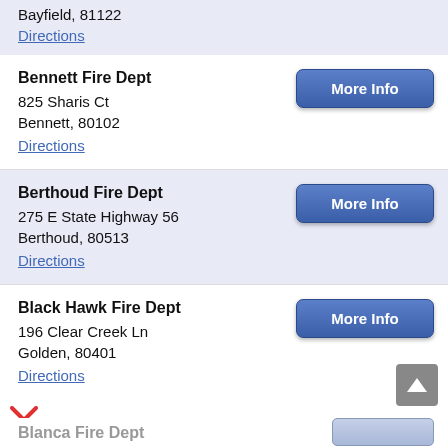Bayfield, 81122
Directions
Bennett Fire Dept
825 Sharis Ct
Bennett, 80102
Directions
More Info
Berthoud Fire Dept
275 E State Highway 56
Berthoud, 80513
Directions
More Info
Black Hawk Fire Dept
196 Clear Creek Ln
Golden, 80401
Directions
More Info
Blanca Fire Dept